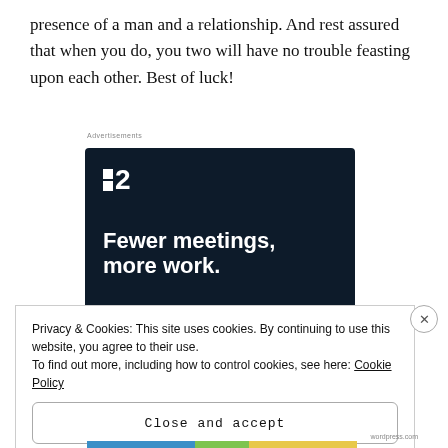presence of a man and a relationship. And rest assured that when you do, you two will have no trouble feasting upon each other. Best of luck!
[Figure (other): Advertisement for a project management tool (app with logo showing two squares and the number 2). Dark navy background with white bold text reading 'Fewer meetings, more work.' and a 'Get started for free' button.]
Privacy & Cookies: This site uses cookies. By continuing to use this website, you agree to their use.
To find out more, including how to control cookies, see here: Cookie Policy
Close and accept